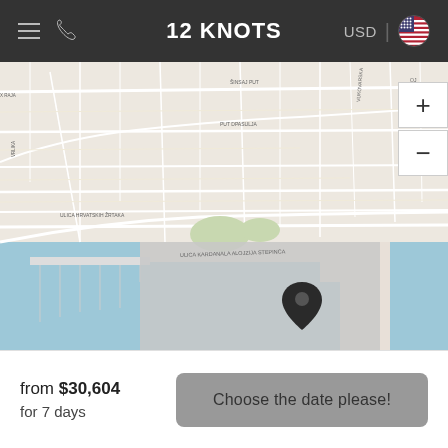12 KNOTS
[Figure (map): Street map of a coastal city (likely Split, Croatia) showing roads, city blocks, and waterfront. A dark map pin marker is positioned in the lower-center of the map over a gray area. Zoom +/- controls visible on the right side.]
from $30,604 for 7 days
Choose the date please!